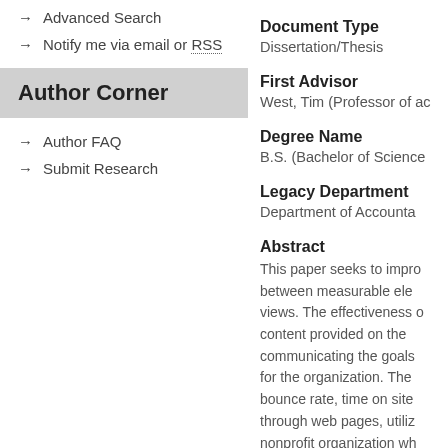→ Advanced Search
→ Notify me via email or RSS
Author Corner
→ Author FAQ
→ Submit Research
Document Type
Dissertation/Thesis
First Advisor
West, Tim (Professor of ac…
Degree Name
B.S. (Bachelor of Science…
Legacy Department
Department of Accounta…
Abstract
This paper seeks to impro… between measurable ele… views. The effectiveness o… content provided on the… communicating the goals… for the organization. The… bounce rate, time on site… through web pages, utiliz… nonprofit organization wh… poetry, to provide an ana… the predictions made in t…